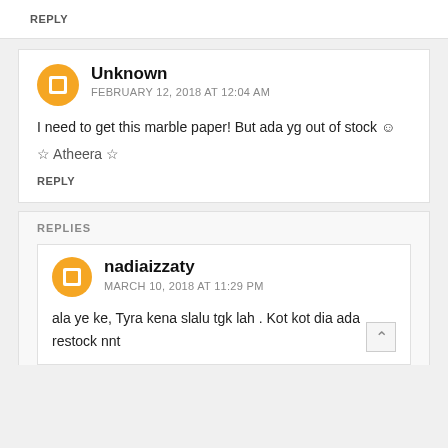REPLY
Unknown
FEBRUARY 12, 2018 AT 12:04 AM
I need to get this marble paper! But ada yg out of stock ☺
☆ Atheera ☆
REPLY
REPLIES
nadiaizzaty
MARCH 10, 2018 AT 11:29 PM
ala ye ke, Tyra kena slalu tgk lah . Kot kot dia ada restock nnt